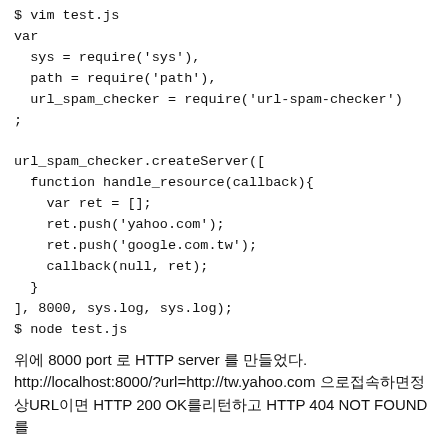$ vim test.js
var
  sys = require('sys'),
  path = require('path'),
  url_spam_checker = require('url-spam-checker')
;

url_spam_checker.createServer([
  function handle_resource(callback){
    var ret = [];
    ret.push('yahoo.com');
    ret.push('google.com.tw');
    callback(null, ret);
  }
], 8000, sys.log, sys.log);
$ node test.js
위에 8000 port 로 HTTP server 를 만들었다. http://localhost:8000/?url=http://tw.yahoo.com 으로접속하면정상URL이면 HTTP 200 OK를리턴하고 HTTP 404 NOT FOUND를
만약에 URL = http://tw.yahoo.com 처럼이면 200 OK를리턴한다고 domain